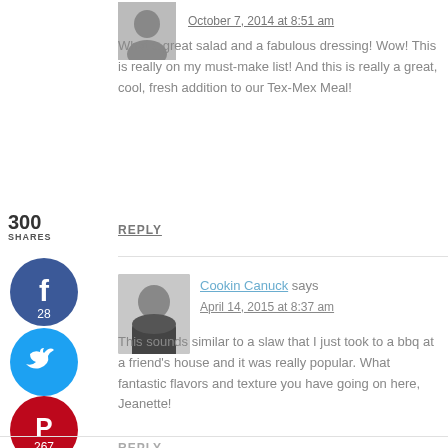October 7, 2014 at 8:51 am
What a great salad and a fabulous dressing! Wow! This is really on my must-make list! And this is really a great, cool, fresh addition to our Tex-Mex Meal!
300
SHARES
REPLY
[Figure (illustration): Facebook share button circle, blue, with f icon and count 28]
[Figure (illustration): Twitter share button circle, light blue, with bird icon]
[Figure (illustration): Pinterest share button circle, red, with P icon and count 267]
[Figure (illustration): Yummly share button circle, orange, with yum text]
[Figure (photo): Avatar photo of commenter, top-right portrait of woman]
[Figure (photo): Avatar photo of Cookin Canuck, woman in black jacket]
Cookin Canuck says
April 14, 2015 at 8:37 am
This sounds similar to a slaw that I just took to a bbq at a friend's house and it was really popular. What fantastic flavors and texture you have going on here, Jeanette!
REPLY